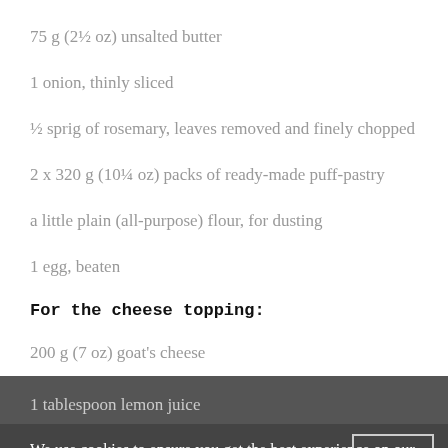75 g (2½ oz) unsalted butter
1 onion, thinly sliced
½ sprig of rosemary, leaves removed and finely chopped
2 x 320 g (10¼ oz) packs of ready-made puff-pastry
a little plain (all-purpose) flour, for dusting
1 egg, beaten
For the cheese topping:
200 g (7 oz) goat's cheese
1 tablespoon lemon juice
We use cookies to ensure you get the best experience on our website.
4 crisp eating (dessert) apples, such as Braeburn, peeled, cored and sliced